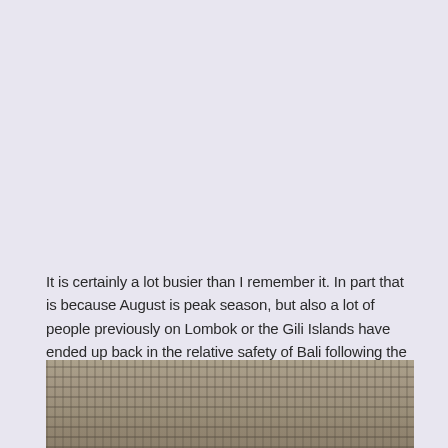It is certainly a lot busier than I remember it. In part that is because August is peak season, but also a lot of people previously on Lombok or the Gili Islands have ended up back in the relative safety of Bali following the earthquakes.
[Figure (photo): Partial view of an ancient stone structure or wall with intricate carved patterns and textures, appearing to be a Balinese temple or historical building.]